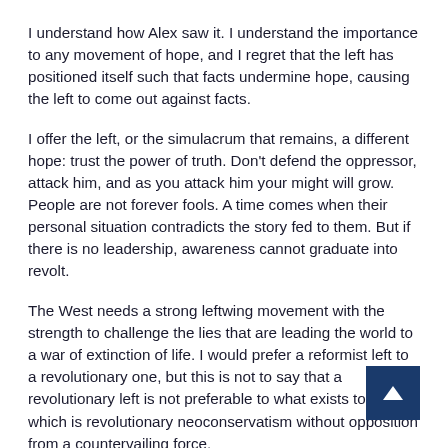I understand how Alex saw it. I understand the importance to any movement of hope, and I regret that the left has positioned itself such that facts undermine hope, causing the left to come out against facts.
I offer the left, or the simulacrum that remains, a different hope: trust the power of truth. Don't defend the oppressor, attack him, and as you attack him your might will grow. People are not forever fools. A time comes when their personal situation contradicts the story fed to them. But if there is no leadership, awareness cannot graduate into revolt.
The West needs a strong leftwing movement with the strength to challenge the lies that are leading the world to a war of extinction of life. I would prefer a reformist left to a revolutionary one, but this is not to say that a revolutionary left is not preferable to what exists today, which is revolutionary neoconservatism without opposition from a countervailing force.